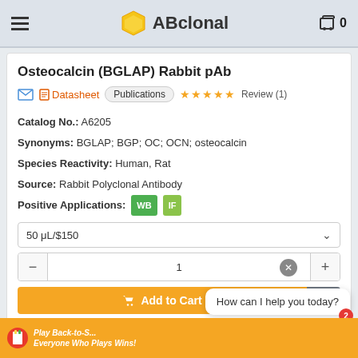ABclonal
Osteocalcin (BGLAP) Rabbit pAb
Datasheet | Publications | ★★★★★ Review (1)
Catalog No.: A6205
Synonyms: BGLAP; BGP; OC; OCN; osteocalcin
Species Reactivity: Human, Rat
Source: Rabbit Polyclonal Antibody
Positive Applications: WB IF
50 μL/$150
1
Add to Cart
Compare (max 5)
How can I help you today?
Play Back-to-S... Everyone Who Plays Wins!